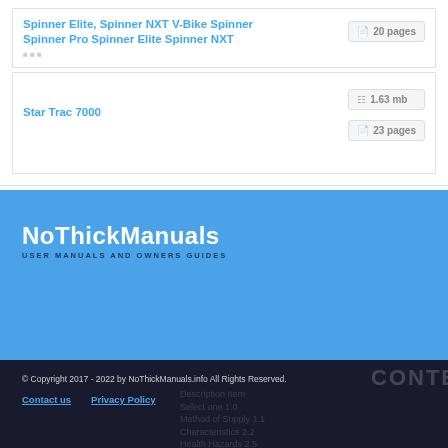Spinner Elite, Spinner NXT V-Bike Spinner Spinner Pro Spinner Elite Spinner NXT
20 pages
Star Trac 7000
1.63 mb
23 pages
NoThickManuals
USER MANUALS AND OWNERS GUIDES
© Copyright 2017 - 2022 by NoThickManuals.info All Rights Reserved.
Contact us   Privacy Policy